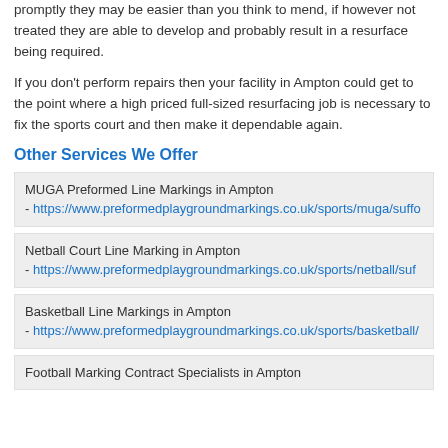promptly they may be easier than you think to mend, if however not treated they are able to develop and probably result in a resurface being required.
If you don't perform repairs then your facility in Ampton could get to the point where a high priced full-sized resurfacing job is necessary to fix the sports court and then make it dependable again.
Other Services We Offer
MUGA Preformed Line Markings in Ampton - https://www.preformedplaygroundmarkings.co.uk/sports/muga/suffo
Netball Court Line Marking in Ampton - https://www.preformedplaygroundmarkings.co.uk/sports/netball/suf
Basketball Line Markings in Ampton - https://www.preformedplaygroundmarkings.co.uk/sports/basketball/
Football Marking Contract Specialists in Ampton